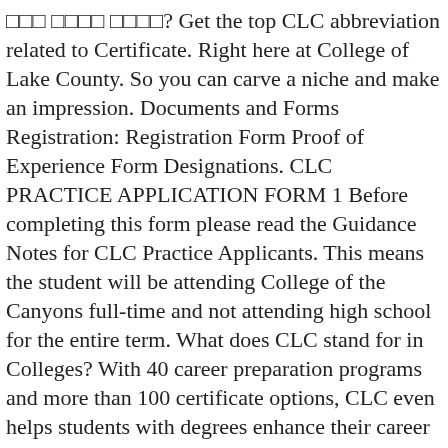□□□ □□□□ □□□□? Get the top CLC abbreviation related to Certificate. Right here at College of Lake County. So you can carve a niche and make an impression. Documents and Forms Registration: Registration Form Proof of Experience Form Designations. CLC PRACTICE APPLICATION FORM 1 Before completing this form please read the Guidance Notes for CLC Practice Applicants. This means the student will be attending College of the Canyons full-time and not attending high school for the entire term. What does CLC stand for in Colleges? With 40 career preparation programs and more than 100 certificate options, CLC even helps students with degrees enhance their career prospects. Our lawyers advise members on P&I related legal and contractual issues. We produce a range of publications, circulars and bulletins. Connect to your great future. this is best website to find all expanded names. Application For College CLC in Hindi. PSEO student who does not meet Central Lakes College's minimum High School GPA; Transfer into Central Lakes College who are currently … Indiana Certificate of Completion. Academic Forms and Documents Fall 2020 - Course Schedule > Fall 2020 - Finals Schedule > Graduation Plans / Course Sequence 2020-